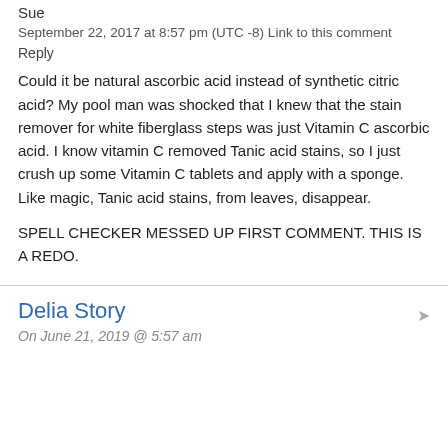Sue
September 22, 2017 at 8:57 pm (UTC -8) Link to this comment
Reply
Could it be natural ascorbic acid instead of synthetic citric acid? My pool man was shocked that I knew that the stain remover for white fiberglass steps was just Vitamin C ascorbic acid. I know vitamin C removed Tanic acid stains, so I just crush up some Vitamin C tablets and apply with a sponge. Like magic, Tanic acid stains, from leaves, disappear.
SPELL CHECKER MESSED UP FIRST COMMENT. THIS IS A REDO.
Delia Story
On June 21, 2019 @ 5:57 am